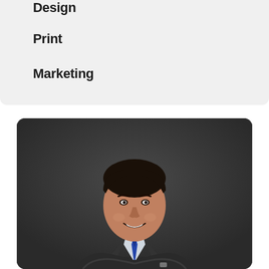Design
Print
Marketing
[Figure (photo): Professional headshot of a man in a dark suit with a blue tie, arms crossed, smiling, against a dark gray background.]